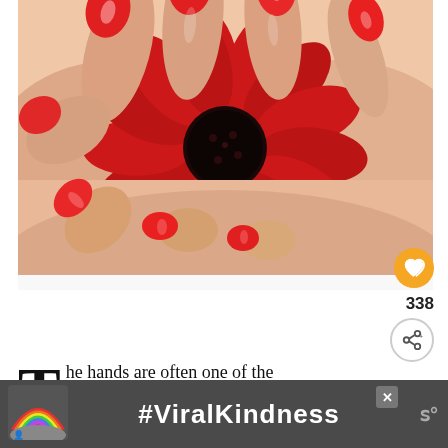[Figure (photo): Two hands with bright red manicured nails holding a deep red gerbera daisy flower against a white background]
338
The hands are often one of the body parts that can give away someone's a...
WHAT'S NEXT → 5 Cremas para manos...
As human beings, we use our hands a lot – they a... ts.
[Figure (screenshot): Advertisement banner with rainbow illustration and #ViralKindness hashtag text on dark background]